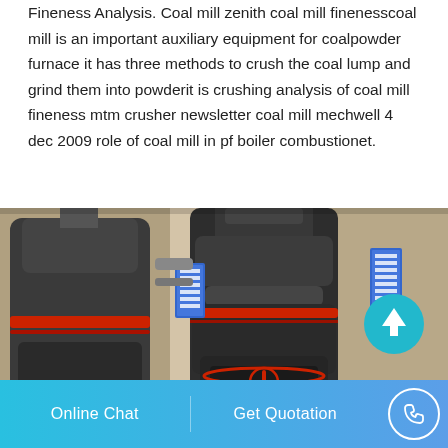Fineness Analysis. Coal mill zenith coal mill finenesscoal mill is an important auxiliary equipment for coalpowder furnace it has three methods to crush the coal lump and grind them into powderit is crushing analysis of coal mill fineness mtm crusher newsletter coal mill mechwell 4 dec 2009 role of coal mill in pf boiler combustionet.
[Figure (photo): Industrial coal mill machinery photograph showing large dark cylindrical grinding mill equipment with red accent rings, pipes, and Chinese safety signs in a factory setting]
Online Chat    Get Quotation